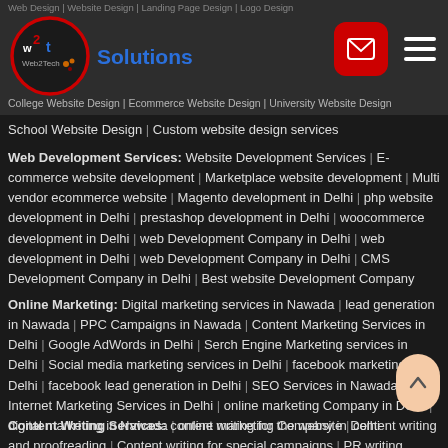[Figure (logo): Web2Tech Solutions logo with red circle border and blue Solutions text]
School Website Design | Custom website design services
Web Development Services: Website Development Services | E-commerce website development | Marketplace website development | Multi vendor ecommerce website | Magento development in Delhi | php website development in Delhi | prestashop development in Delhi | woocommerce development in Delhi | web Development Company in Delhi | web development in Delhi | web Development Company in Delhi | CMS Development Company in Delhi | Best website Development Company
Online Marketing: Digital marketing services in Nawada | lead generation in Nawada | PPC Campaigns in Nawada | Content Marketing Services in Delhi | Google AdWords in Delhi | Serch Engine Marketing services in Delhi | Social media marketing services in Delhi | facebook marketing in Delhi | facebook lead generation in Delhi | SEO Services in Nawada | Internet Marketing Services in Delhi | online marketing Company in Delhi | digital marketing in Nawada | online marketing Company in Delhi
Content Writing Services: content writing for the website | content writing and proofreading | Content writing for special campaigns | PR writing services, Blog writing services | seo writing services | Content Marketing Services in Nawada